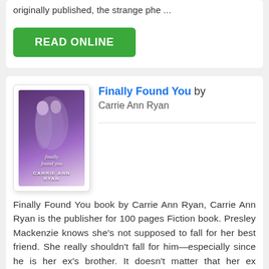originally published, the strange phe ...
READ ONLINE
[Figure (illustration): Book cover of 'Finally Found You' by Carrie Ann Ryan, showing a romantic couple, purple/violet tones]
Finally Found You by Carrie Ann Ryan
Finally Found You book by Carrie Ann Ryan, Carrie Ann Ryan is the publisher for 100 pages Fiction book. Presley Mackenzie knows she's not supposed to fall for her best friend. She really shouldn't fall for him—especially since he is her ex's brother. It doesn't matter that her ex cheated. It doesn't